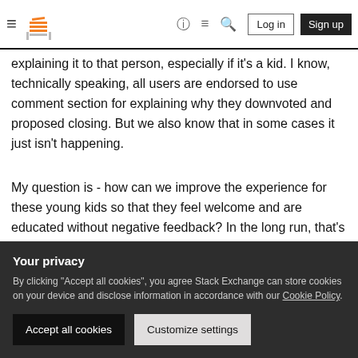Stack Exchange navigation bar with hamburger menu, logo, help, chat, search icons, Log in and Sign up buttons
explaining it to that person, especially if it's a kid. I know, technically speaking, all users are endorsed to use comment section for explaining why they downvoted and proposed closing. But we also know that in some cases it just isn't happening.
My question is - how can we improve the experience for these young kids so that they feel welcome and are educated without negative feedback? In the long run, that's what we want, right? To bring up next generations of programmers
Your privacy
By clicking "Accept all cookies", you agree Stack Exchange can store cookies on your device and disclose information in accordance with our Cookie Policy.
Accept all cookies   Customize settings